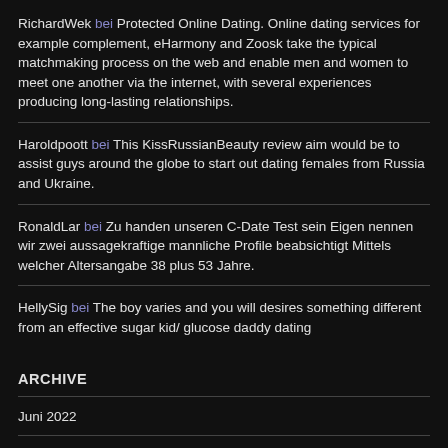RichardWek bei Protected Online Dating. Online dating services for example complement, eHarmony and Zoosk take the typical matchmaking process on the web and enable men and women to meet one another via the internet, with several experiences producing long-lasting relationships.
Haroldpoott bei This KissRussianBeauty review aim would be to assist guys around the globe to start out dating females from Russia and Ukraine.
RonaldLar bei Zu handen unseren C-Date Test sein Eigen nennen wir zwei aussagekraftige mannliche Profile beabsichtigt Mittels welcher Altersangabe 38 plus 53 Jahre.
HellySig bei The boy varies and you will desires something different from an effective sugar kid/ glucose daddy dating
ARCHIVE
Juni 2022
März 2022